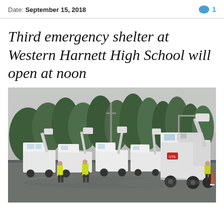Date: September 15, 2018   💬 1
Third emergency shelter at Western Harnett High School will open at noon
[Figure (photo): A large parking lot with many white utility/bucket trucks staged in rows on a wet, overcast day. Several workers in yellow safety vests are visible on the ground directing trucks. Trees and light poles are visible in the background.]